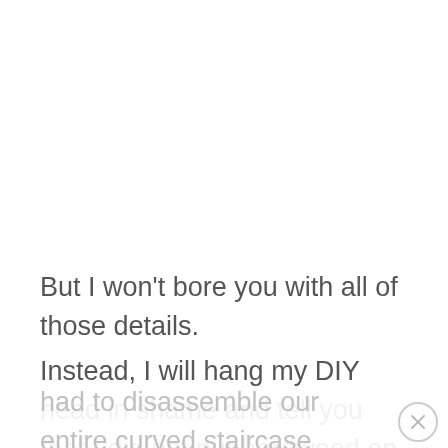But I won't bore you with all of those details.
Instead, I will hang my DIY head in shame and tell you that I did not put hardwood on the stairs because it was crazy expensive. They would have had to disassemble our entire curved staircase